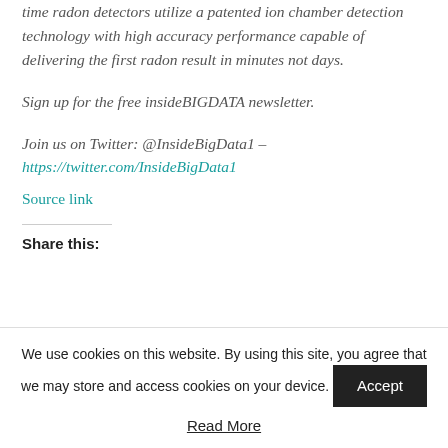time radon detectors utilize a patented ion chamber detection technology with high accuracy performance capable of delivering the first radon result in minutes not days.
Sign up for the free insideBIGDATA newsletter.
Join us on Twitter: @InsideBigData1 – https://twitter.com/InsideBigData1
Source link
Share this:
We use cookies on this website. By using this site, you agree that we may store and access cookies on your device.
Accept
Read More